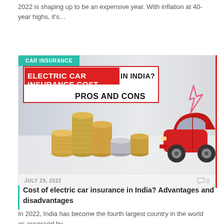2022 is shaping up to be an expensive year. With inflation at 40-year highs, it's…
[Figure (photo): Article card with teal 'CAR INSURANCE' tag, image showing stacked gold coins and a red toy car with a lightning bolt icon, and headline 'ELECTRIC CAR INSURANCE COST IN INDIA? PROS AND CONS'. Footer shows date JULY 29, 2022 and comment count 0.]
Cost of electric car insurance in India? Advantages and disadvantages
In 2022, India has become the fourth largest country in the world as assessed by…